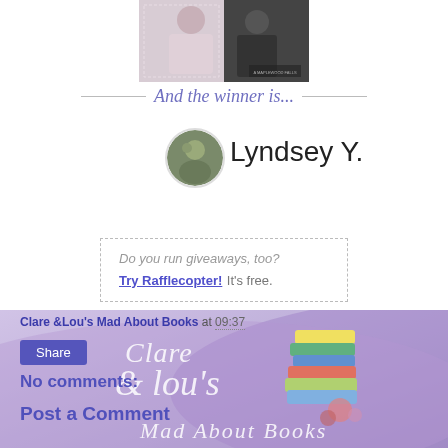[Figure (photo): Top portion of a book cover photo (cropped), showing a couple in formal wear]
And the winner is...
[Figure (photo): Circular avatar photo of winner Lyndsey Y.]
Lyndsey Y.
Do you run giveaways, too? Try Rafflecopter! It's free.
Clare &Lou's Mad About Books at 09:37
Share
No comments:
Post a Comment
[Figure (illustration): Clare & Lou's Mad About Books blog watermark/logo with purple watercolor background and stacked illustrated books]